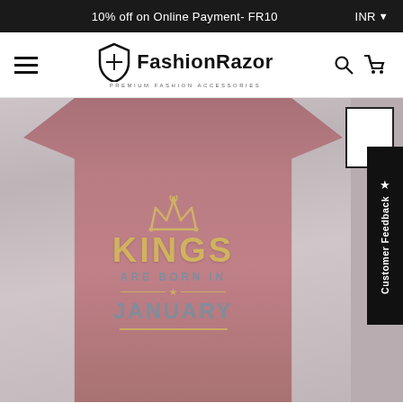10% off on Online Payment- FR10   INR ▾
[Figure (logo): FashionRazor logo with shield icon and tagline PREMIUM FASHION ACCESSORIES]
[Figure (photo): Man wearing a dark mauve/burgundy t-shirt with a graphic print showing a crown and text: KINGS ARE BORN IN JANUARY, in gold and steel-blue colors. A customer feedback tab is visible on the right side with a thumbnail image.]